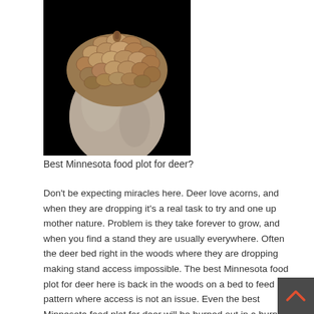[Figure (photo): Close-up photograph of an acorn with a textured brown cap against a black background]
Best Minnesota food plot for deer?
Don't be expecting miracles here. Deer love acorns, and when they are dropping it's a real task to try and one up mother nature. Problem is they take forever to grow, and when you find a stand they are usually everywhere. Often the deer bed right in the woods where they are dropping making stand access impossible. The best Minnesota food plot for deer here is back in the woods on a bed to feed pattern where access is not an issue. Even the best Minnesota food plot for deer will be burned out in a hurry if you bump deer moving to and fro, and if you